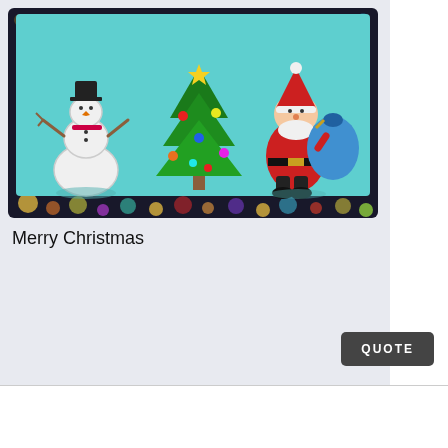[Figure (illustration): A Christmas greeting card image showing a snowman on the left, a decorated Christmas tree in the center, and Santa Claus carrying a blue sack on the right, all on a teal/cyan background, surrounded by a dark bokeh-style decorative border with colorful lights.]
Merry Christmas